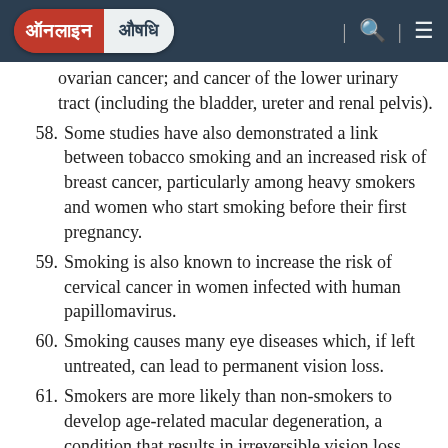ऑनलाइन औषधि
ovarian cancer; and cancer of the lower urinary tract (including the bladder, ureter and renal pelvis).
58. Some studies have also demonstrated a link between tobacco smoking and an increased risk of breast cancer, particularly among heavy smokers and women who start smoking before their first pregnancy.
59. Smoking is also known to increase the risk of cervical cancer in women infected with human papillomavirus.
60. Smoking causes many eye diseases which, if left untreated, can lead to permanent vision loss.
61. Smokers are more likely than non-smokers to develop age-related macular degeneration, a condition that results in irreversible vision loss.
62. Smokers also have a higher risk of cataracts, a clouding of the eye's lens that blocks light.
Cataracts cause vision impairment and surgery...